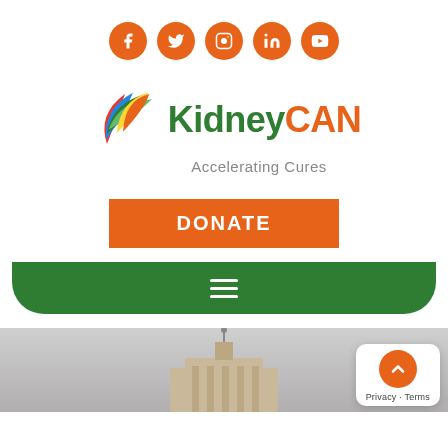[Figure (infographic): Row of 5 orange circular social media icons: Facebook, Twitter, Instagram, LinkedIn, YouTube]
[Figure (logo): KidneyCAN logo with colorful fan/leaf icon on left, 'Kidney' in dark green bold, 'CAN' in orange bold, tagline 'Accelerating Cures' in gray below]
[Figure (other): Orange DONATE button with white bold text]
[Figure (other): Dark green rounded navigation bar with white hamburger menu icon]
[Figure (photo): Photo of a statue/monument on top of a building (likely US Capitol), sky background; partially visible at bottom of page. Privacy badge with scroll-up arrow button overlaid at bottom right.]